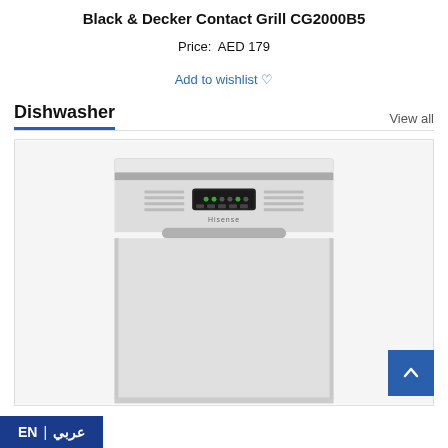Black & Decker Contact Grill CG2000B5
Price:  AED 179
Add to wishlist ♡
Dishwasher
View all
[Figure (photo): White Hisense dishwasher front view showing control panel with digital display, buttons, and handle at the top of the door]
EN | عربي